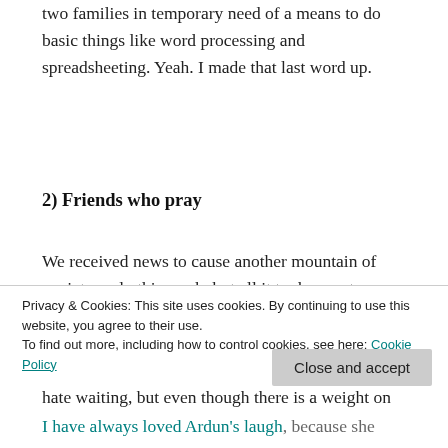two families in temporary need of a means to do basic things like word processing and spreadsheeting. Yeah. I made that last word up.
2) Friends who pray
We received news to cause another mountain of anxiety early this week, but all it took were two discreet emails and I’ve been so touched by the conversations / sharing / notes / emails / texts of love, comfort and prayer that have come through. I hate waiting, but even though there is a weight on my family’s collective heart at the moment, it has
Privacy & Cookies: This site uses cookies. By continuing to use this website, you agree to their use.
To find out more, including how to control cookies, see here: Cookie Policy
Close and accept
I have always loved Ardun’s laugh, because she